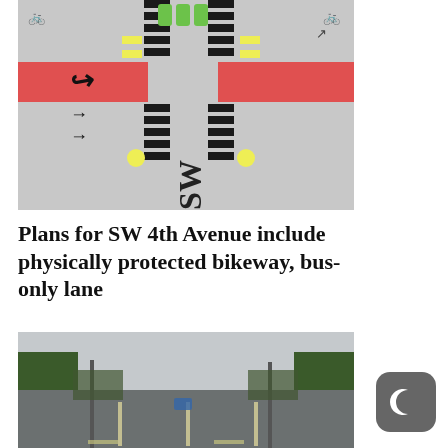[Figure (schematic): Aerial schematic diagram of a road intersection showing lane markings, crosswalks (black and white striped), green bike lane indicators, red bus/bike lane areas, yellow lane dividers, directional arrows, and text reading 'SW' in the center of the road.]
Plans for SW 4th Avenue include physically protected bikeway, bus-only lane
[Figure (photo): Street-level photograph of a multi-lane road with trees on both sides, utility poles, overcast sky, and a vehicle visible in the distance. The road has lane markings visible.]